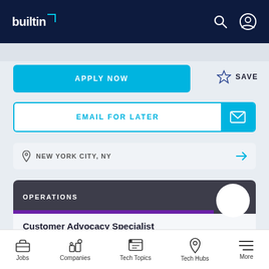builtin
APPLY NOW
SAVE
EMAIL FOR LATER
NEW YORK CITY, NY
OPERATIONS
Customer Advocacy Specialist
CELONIS
Jobs  Companies  Tech Topics  Tech Hubs  More